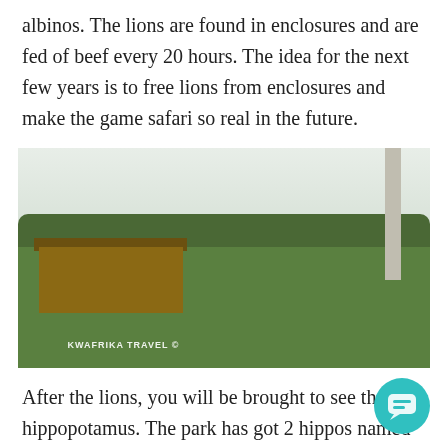albinos. The lions are found in enclosures and are fed of beef every 20 hours. The idea for the next few years is to free lions from enclosures and make the game safari so real in the future.
[Figure (photo): Photograph of a lion enclosure/shelter at a game park with green grass, misty treeline in background, and a wooden shelter structure. Watermark reads 'KWAFRIKA TRAVEL ©'. A chat popup overlay is visible with avatar, close button, and text: 'Thank you for visiting our website. Got any questions? I'm happy to help.']
After the lions, you will be brought to see the hippopotamus. The park has got 2 hippos named